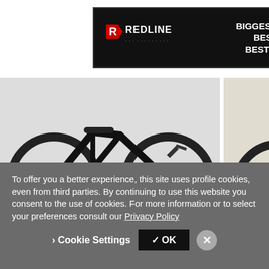[Figure (advertisement): Redline bicycle brand banner advertisement with logo, text 'BIGGEST INVENTORY! BEST PRICES! BEST FINANCING!' and red 'CLICK HERE' button on black background]
[Figure (photo): Yamaha Road E Bike Urban Rush electric bicycle, black, side view]
Yamaha Road E Bike Urban Rush...
$2,699.99
Used
The Pro's Closet
[Figure (photo): Yamaha YDX Moro Ebike, gold/olive color, side view]
Yamaha YDX Moro Ebike
$4,499.00
ebikes 508
[Figure (photo): Yamaha 250cc Scrambler motorcycle, teal/green color, parked]
Yamaha 250cc Scrambler
$2,816.45
Etsy
To offer you a better experience, this site uses profile cookies, even from third parties. By continuing to use this website you consent to the use of cookies. For more information or to select your preferences consult our Privacy Policy